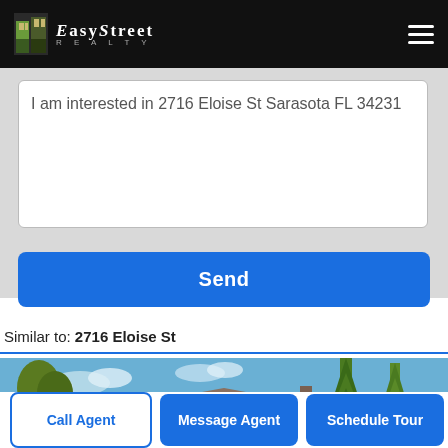[Figure (logo): EasyStreet Realty logo on black header bar with hamburger menu icon]
I am interested in 2716 Eloise St Sarasota FL 34231
Send
Similar to: 2716 Eloise St
[Figure (photo): Photo of a single-story residential home with garage, palm trees and tall pine trees visible, green lawn in foreground, blue sky]
Call Agent
Message Agent
Schedule Tour